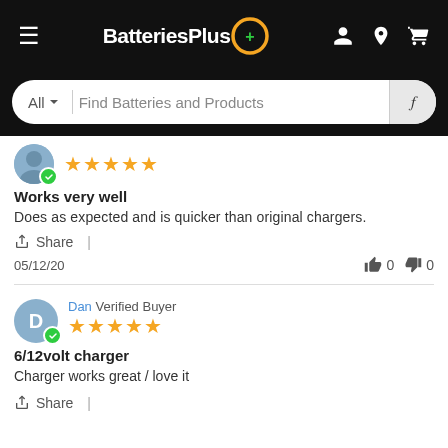BatteriesPlus
All | Find Batteries and Products
Works very well
Does as expected and is quicker than original chargers.
Share |
05/12/20  👍 0  👎 0
Dan Verified Buyer
6/12volt charger
Charger works great / love it
Share |